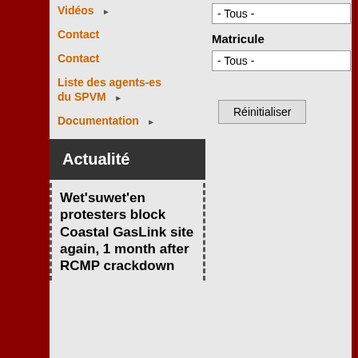Vidéos ▶
Contact
Contact
Liste des agents-es du SPVM ▶
Documentation ▶
- Tous -
Matricule
- Tous -
Réinitialiser
Actualité
Wet'suwet'en protesters block Coastal GasLink site again, 1 month after RCMP crackdown